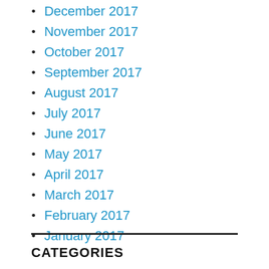December 2017
November 2017
October 2017
September 2017
August 2017
July 2017
June 2017
May 2017
April 2017
March 2017
February 2017
January 2017
CATEGORIES